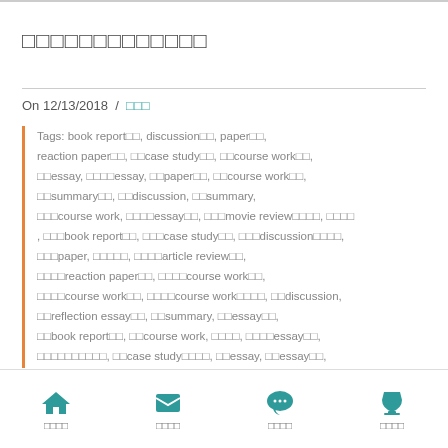□□□□□□□□□□□□□
On 12/13/2018  /  □□□
Tags: book report□□, discussion□□, paper□□, reaction paper□□, □□case study□□, □□course work□□, □□essay, □□□□essay, □□paper□□, □□course work□□, □□summary□□, □□discussion, □□summary, □□□course work, □□□□essay□□, □□□movie review□□□□, □□□□, □□□book report□□, □□□case study□□, □□□discussion□□□□, □□□paper, □□□□□, □□□□article review□□, □□□□reaction paper□□, □□□□course work□□, □□□□course work□□, □□□□course work□□□□, □□discussion, □□reflection essay□□, □□summary, □□essay□□, □□book report□□, □□course work, □□□□, □□□□essay□□, □□□□□□□□□□, □□case study□□□□, □□essay, □□essay□□, □□paper, □□□□essay□□, □□course work□□, □□discussion□□, □□essay□□, □□essay□□□□□, □□movie review□□,
□□□□  □□□□  □□□□  □□□□